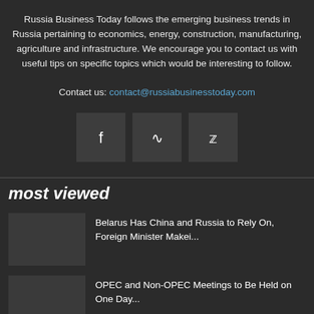Russia Business Today follows the emerging business trends in Russia pertaining to economics, energy, construction, manufacturing, agriculture and infrastructure. We encourage you to contact us with useful tips on specific topics which would be interesting to follow.
Contact us: contact@russiabusinesstoday.com
[Figure (other): Social media icon buttons: Facebook (f), RSS feed, Twitter (bird icon)]
most viewed
Belarus Has China and Russia to Rely On, Foreign Minister Makei...
OPEC and Non-OPEC Meetings to Be Held on One Day...